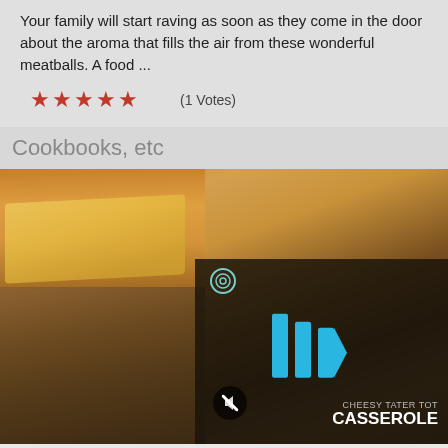Your family will start raving as soon as they come in the door about the aroma that fills the air from these wonderful meatballs. A food ...
★★★★★  (1 Votes)
Cookbooks, etc
[Figure (photo): Food photo of a casserole dish with a video overlay showing a 'Cheesy Tater Tot Casserole' video thumbnail with play button and mute icon]